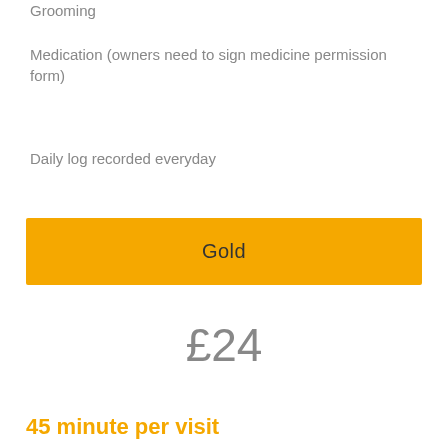Grooming
Medication (owners need to sign medicine permission form)
Daily log recorded everyday
Gold
£24
45 minute per visit